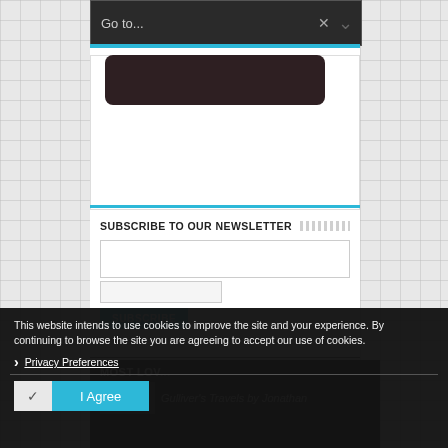[Figure (screenshot): Navigation dropdown bar with 'Go to...' placeholder text, X close button and chevron arrow]
[Figure (screenshot): Dark rounded rectangle element (navigation/menu area)]
SUBSCRIBE TO OUR NEWSLETTER
[Figure (screenshot): Newsletter subscription form with input fields and Subscribe button]
This website intends to use cookies to improve the site and your experience. By continuing to browse the site you are agreeing to accept our use of cookies.
Privacy Preferences
I Agree
MOST LOV...
Gulliver's Travels by Jonathan